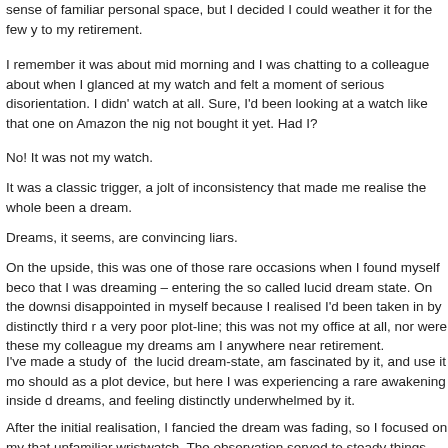sense of familiar personal space, but I decided I could weather it for the few y... to my retirement.
I remember it was about mid morning and I was chatting to a colleague about when I glanced at my watch and felt a moment of serious disorientation. I didn't ... watch at all. Sure, I'd been looking at a watch like that one on Amazon the nig... not bought it yet. Had I?
No! It was not my watch.
It was a classic trigger, a jolt of inconsistency that made me realise the whole ... been a dream.
Dreams, it seems, are convincing liars.
On the upside, this was one of those rare occasions when I found myself beco... that I was dreaming – entering the so called lucid dream state. On the downsi... disappointed in myself because I realised I'd been taken in by distinctly third r... a very poor plot-line; this was not my office at all, nor were these my colleague... my dreams am I anywhere near retirement.
I've made a study of the lucid dream-state, am fascinated by it, and use it mo... should as a plot device, but here I was experiencing a rare awakening inside d... dreams, and feeling distinctly underwhelmed by it.
After the initial realisation, I fancied the dream was fading, so I focused on my... that unfamiliar wristwatch. The observation served to steady things and I was...